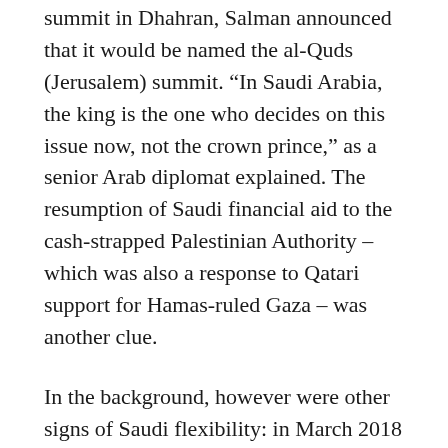summit in Dhahran, Salman announced that it would be named the al-Quds (Jerusalem) summit. “In Saudi Arabia, the king is the one who decides on this issue now, not the crown prince,” as a senior Arab diplomat explained. The resumption of Saudi financial aid to the cash-strapped Palestinian Authority – which was also a response to Qatari support for Hamas-ruled Gaza – was another clue.
In the background, however were other signs of Saudi flexibility: in March 2018 a commercial flight from Delhi to Tel Aviv was allowed for the first time to cross Saudi airspace. But there was a significant qualification. “Kerry asked the Saudis to let [Israeli airline] El Al fly over their territory,” reflected an Israeli security expert. “And who